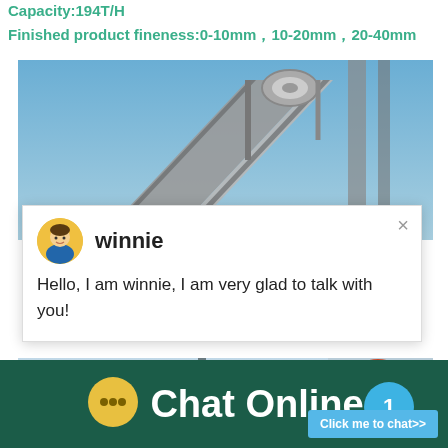Capacity:194T/H
Finished product fineness:0-10mm，10-20mm，20-40mm
[Figure (photo): Industrial conveyor belt and crushing equipment against blue sky]
winnie
Hello, I am winnie, I am very glad to talk with you!
[Figure (photo): Mining conveyor belt structures in snowy landscape with cone crusher]
1
Click me to chat>>
Chat Online